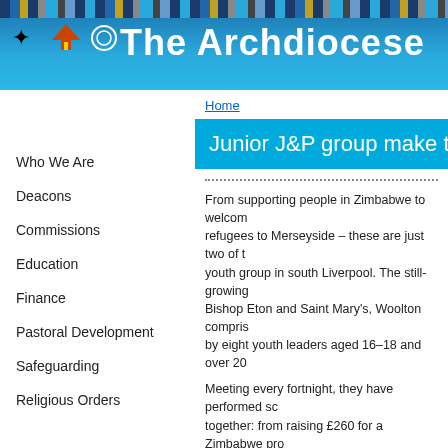The Archdiocese
Home
Junior J&P group make their m
From supporting people in Zimbabwe to welcoming refugees to Merseyside – these are just two of the youth group in south Liverpool. The still-growing Bishop Eton and Saint Mary's, Woolton compris by eight youth leaders aged 16–18 and over 20
Meeting every fortnight, they have performed so together: from raising £260 for a Zimbabwe pro money for the Red Cross to organising a collect presence in its two parishes, inviting grandmoth
Who We Are
Deacons
Commissions
Education
Finance
Pastoral Development
Safeguarding
Religious Orders